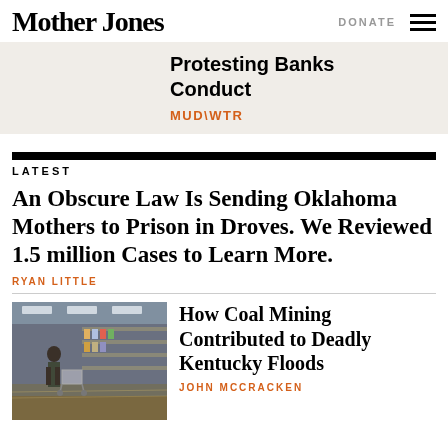Mother Jones
DONATE
[Figure (other): Hamburger menu icon with three horizontal bars]
Protesting Banks Conduct
MUD\WTR
LATEST
An Obscure Law Is Sending Oklahoma Mothers to Prison in Droves. We Reviewed 1.5 million Cases to Learn More.
RYAN LITTLE
[Figure (photo): Photo of a flooded store interior with a person standing amid debris and water on the floor, shelves visible in background]
How Coal Mining Contributed to Deadly Kentucky Floods
JOHN MCCRACKEN